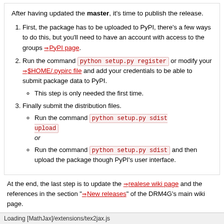After having updated the master, it's time to publish the release.
1. First, the package has to be uploaded to PyPI, there's a few ways to do this, but you'll need to have an account with access to the groups ⇒PyPI page.
2. Run the command python setup.py register or modify your ⇒$HOME/.pypirc file and add your credentials to be able to submit package data to PyPI.
• This step is only needed the first time.
3. Finally submit the distribution files.
• Run the command python setup.py sdist upload or
• Run the command python setup.py sdist and then upload the package though PyPI's user interface.
At the end, the last step is to update the realese wiki page and the references in the section "New releases" of the DRM4G's main wiki page.
Attachments (6)
Download in other formats:
Plain Text | PDF Article | PDF Book | Printable HTML
trac — Powered by Trac 1.0.12 By Edgewall Software. — Visit the Trac open source project at http://trac.edgewall.org/
Loading [MathJax]/extensions/tex2jax.js